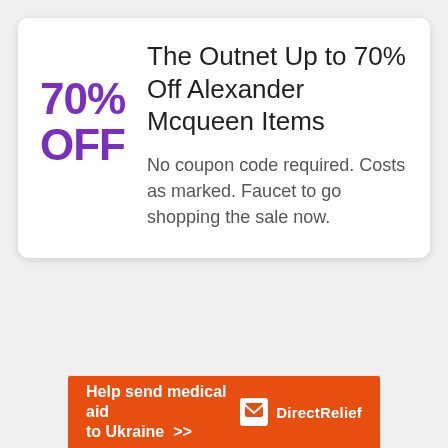70% OFF
The Outnet Up to 70% Off Alexander Mcqueen Items
No coupon code required. Costs as marked. Faucet to go shopping the sale now.
[Figure (infographic): Orange banner advertisement for Direct Relief charity: 'Help send medical aid to Ukraine >>' with Direct Relief logo (white box icon and white text on orange background)]